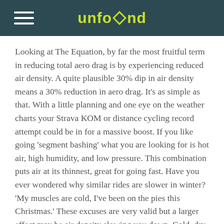unfound
Looking at The Equation, by far the most fruitful term in reducing total aero drag is by experiencing reduced air density. A quite plausible 30% dip in air density means a 30% reduction in aero drag. It’s as simple as that. With a little planning and one eye on the weather charts your Strava KOM or distance cycling record attempt could be in for a massive boost. If you like going ‘segment bashing’ what you are looking for is hot air, high humidity, and low pressure. This combination puts air at its thinnest, great for going fast. Have you ever wondered why similar rides are slower in winter? ‘My muscles are cold, I’ve been on the pies this Christmas.’ These excuses are very valid but a larger effect may be air density slowing you down. Cold, dry, high pressure